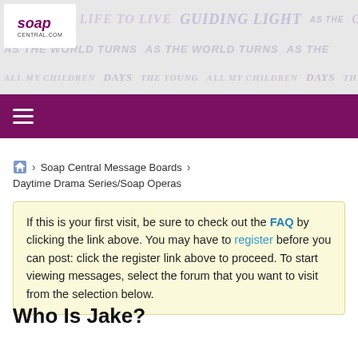[Figure (screenshot): Soap Central website header banner with soap opera show title logos in muted colors as background pattern, with the Soap Central logo in top left]
[Figure (other): Purple navigation bar with hamburger menu icon (three white horizontal lines)]
Home > Soap Central Message Boards > Daytime Drama Series/Soap Operas > Days of our Lives
If this is your first visit, be sure to check out the FAQ by clicking the link above. You may have to register before you can post: click the register link above to proceed. To start viewing messages, select the forum that you want to visit from the selection below.
Who Is Jake?